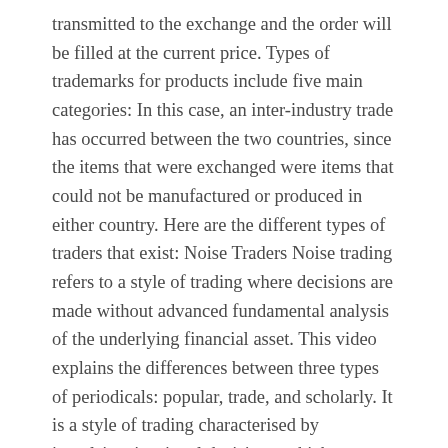transmitted to the exchange and the order will be filled at the current price. Types of trademarks for products include five main categories: In this case, an inter-industry trade has occurred between the two countries, since the items that were exchanged were items that could not be manufactured or produced in either country. Here are the different types of traders that exist: Noise Traders Noise trading refers to a style of trading where decisions are made without advanced fundamental analysis of the underlying financial asset. This video explains the differences between three types of periodicals: popular, trade, and scholarly. It is a style of trading characterised by impulsive, irrational decisions, which are influenced by fear and greed.. Another excellent type of trade promotion is to give incentive to ... Incentives to Sales staff / Gifting. It is one of those: Some traders specialize in one of those trades. By this method, the dealer himself is motivated to run ideas so that he can promote the product in his